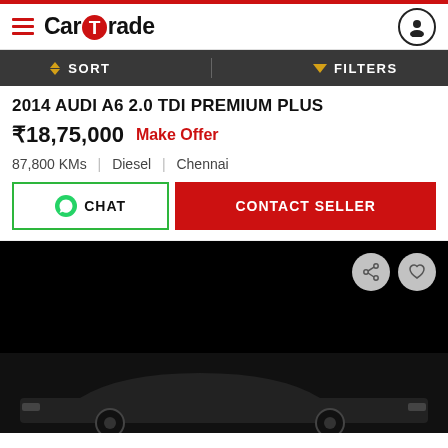CarTrade
SORT   FILTERS
2014 AUDI A6 2.0 TDI PREMIUM PLUS
₹18,75,000   Make Offer
87,800 KMs  |  Diesel  |  Chennai
CHAT   CONTACT SELLER
[Figure (photo): Car listing photo area showing a dark/black background with a car silhouette at the bottom. Share and favorite icon buttons visible in top right of the image area.]